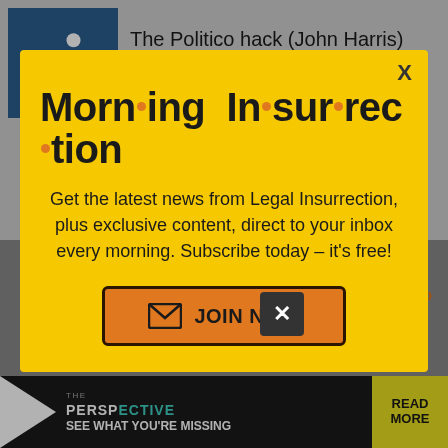The Politico hack (John Harris) was on the Diane Rehm Show on NPR this morning. He not only re-iterated his
[Figure (screenshot): Modal popup newsletter subscription overlay for Morning Insurrection (Legal Insurrection), with yellow background, orange dot-separated logo text, body copy and orange JOIN NOW button. Behind modal: article text partially visible, a close X button, an orange 'op top' link, and a Perspective/Evite banner at bottom.]
the third guest, who nicely pointed that a settlement ans the problem